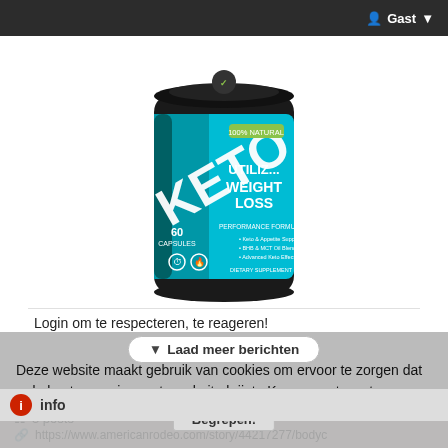Gast
[Figure (photo): KETO supplement product container - black and blue cylindrical bottle labeled 'KETO' with text 'UTILIZ... WEIGHT LOSS', 60 capsules, dietary supplement, performance formula]
Login om te respecteren, te reageren!
Laad meer berichten
Deze website maakt gebruik van cookies om ervoor te zorgen dat u de beste ervaring op te website krijgt.  Kom meer te weten
info
3 posts
https://www.americanrodeo.com/story/44217277/bodyc
Begrepen!